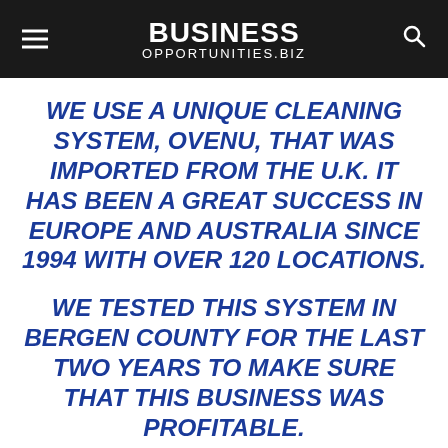BUSINESS OPPORTUNITIES.BIZ
WE USE A UNIQUE CLEANING SYSTEM, OVENU, THAT WAS IMPORTED FROM THE U.K. IT HAS BEEN A GREAT SUCCESS IN EUROPE AND AUSTRALIA SINCE 1994 WITH OVER 120 LOCATIONS.
WE TESTED THIS SYSTEM IN BERGEN COUNTY FOR THE LAST TWO YEARS TO MAKE SURE THAT THIS BUSINESS WAS PROFITABLE.
WE TESTED BOTH OVENS AND BARBEQUES AND DISCOVE...